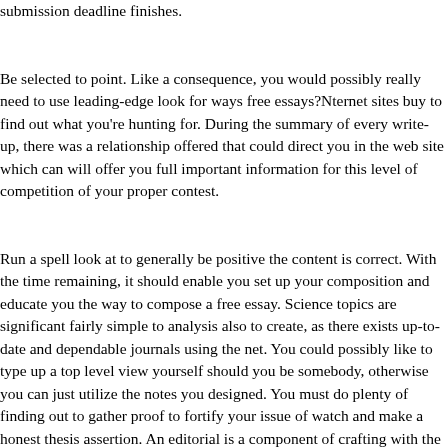submission deadline finishes.
Be selected to point. Like a consequence, you would possibly really need to use leading-edge look for ways free essays?Nternet sites buy to find out what you're hunting for. During the summary of every write-up, there was a relationship offered that could direct you in the web site which can will offer you full important information for this level of competition of your proper contest.
Run a spell look at to generally be positive the content is correct. With the time remaining, it should enable you set up your composition and educate you the way to compose a free essay. Science topics are significant fairly simple to analysis also to create, as there exists up-to-date and dependable journals using the net. You could possibly like to type up a top level view yourself should you be somebody, otherwise you can just utilize the notes you designed. You must do plenty of finding out to gather proof to fortify your issue of watch and make a honest thesis assertion. An editorial is a component of crafting with the particular standpoint of the creator. The thought of your essay will like